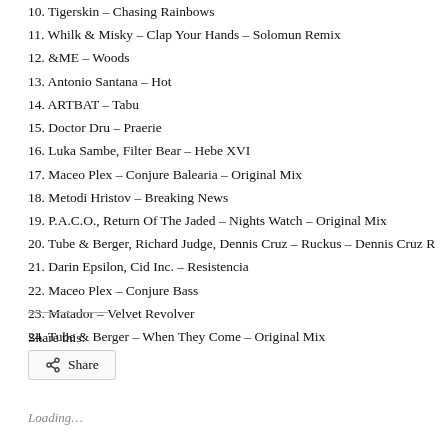10. Tigerskin – Chasing Rainbows
11. Whilk & Misky – Clap Your Hands – Solomun Remix
12. &ME – Woods
13. Antonio Santana – Hot
14. ARTBAT – Tabu
15. Doctor Dru – Praerie
16. Luka Sambe, Filter Bear – Hebe XVI
17. Maceo Plex – Conjure Balearia – Original Mix
18. Metodi Hristov – Breaking News
19. P.A.C.O., Return Of The Jaded – Nights Watch – Original Mix
20. Tube & Berger, Richard Judge, Dennis Cruz – Ruckus – Dennis Cruz R
21. Darin Epsilon, Cid Inc. – Resistencia
22. Maceo Plex – Conjure Bass
23. Matador – Velvet Revolver
24. Tube & Berger – When They Come – Original Mix
Share this:
Loading…